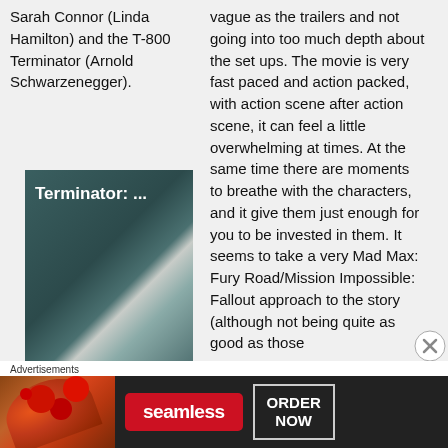Sarah Connor (Linda Hamilton) and the T-800 Terminator (Arnold Schwarzenegger).
[Figure (photo): Thumbnail image of Terminator movie with text 'Terminator: ...' overlaid on a dark teal/geometric background]
vague as the trailers and not going into too much depth about the set ups. The movie is very fast paced and action packed, with action scene after action scene, it can feel a little overwhelming at times. At the same time there are moments to breathe with the characters, and it give them just enough for you to be invested in them. It seems to take a very Mad Max: Fury Road/Mission Impossible: Fallout approach to the story (although not being quite as good as those
Advertisements
[Figure (photo): Seamless food delivery advertisement banner with pizza image, Seamless logo, and 'ORDER NOW' button on dark background]